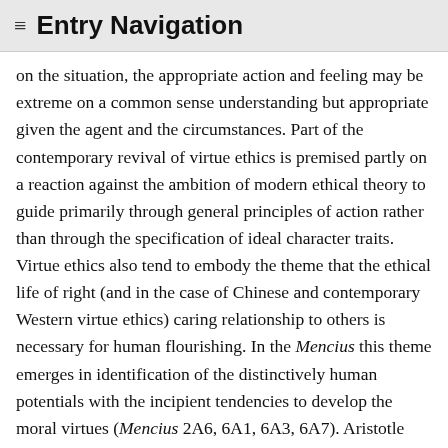≡ Entry Navigation
on the situation, the appropriate action and feeling may be extreme on a common sense understanding but appropriate given the agent and the circumstances. Part of the contemporary revival of virtue ethics is premised partly on a reaction against the ambition of modern ethical theory to guide primarily through general principles of action rather than through the specification of ideal character traits. Virtue ethics also tend to embody the theme that the ethical life of right (and in the case of Chinese and contemporary Western virtue ethics) caring relationship to others is necessary for human flourishing. In the Mencius this theme emerges in identification of the distinctively human potentials with the incipient tendencies to develop the moral virtues (Mencius 2A6, 6A1, 6A3, 6A7). Aristotle held that reason makes us distinctively human and that our reason and social nature compel recognition of the desirability of the ethical life for human beings (see Nivison, 1996 for comparisons of Aristotle and Mencius; and Yearley, 1990 for comparisons of Acquinas and Mencius). Xunzi is equally emphatic